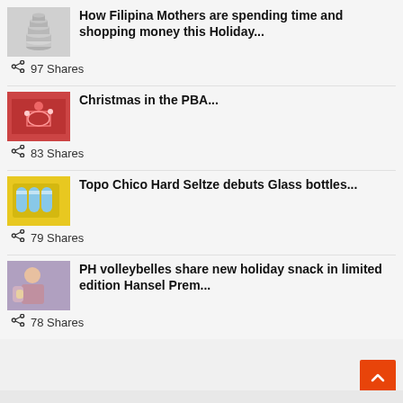[Figure (photo): Thumbnail image of stacked coins]
How Filipina Mothers are spending time and shopping money this Holiday...
97 Shares
[Figure (photo): Thumbnail image of Christmas in the PBA basketball event]
Christmas in the PBA...
83 Shares
[Figure (photo): Thumbnail image of Topo Chico Hard Seltze glass bottles in yellow packaging]
Topo Chico Hard Seltze debuts Glass bottles...
79 Shares
[Figure (photo): Thumbnail image of PH volleybelles with Hansel snack]
PH volleybelles share new holiday snack in limited edition Hansel Prem...
78 Shares